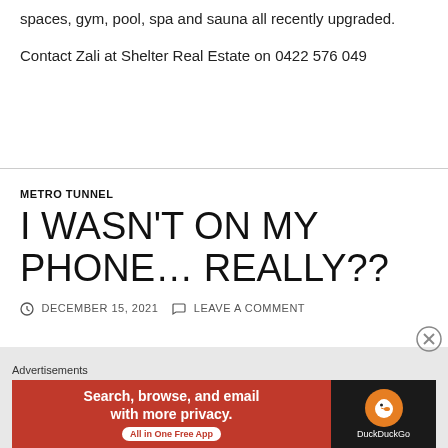spaces, gym, pool, spa and sauna all recently upgraded.
Contact Zali at Shelter Real Estate on 0422 576 049
METRO TUNNEL
I WASN'T ON MY PHONE… REALLY??
DECEMBER 15, 2021   LEAVE A COMMENT
Advertisements
[Figure (other): DuckDuckGo advertisement banner: Search, browse, and email with more privacy. All in One Free App. DuckDuckGo logo on dark background.]